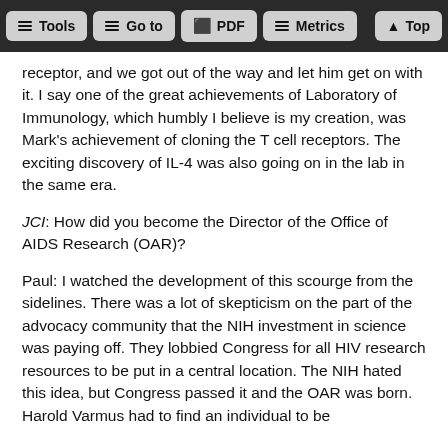Tools | Go to | PDF | Metrics | Top
receptor, and we got out of the way and let him get on with it. I say one of the great achievements of Laboratory of Immunology, which humbly I believe is my creation, was Mark's achievement of cloning the T cell receptors. The exciting discovery of IL-4 was also going on in the lab in the same era.
JCI: How did you become the Director of the Office of AIDS Research (OAR)?
Paul: I watched the development of this scourge from the sidelines. There was a lot of skepticism on the part of the advocacy community that the NIH investment in science was paying off. They lobbied Congress for all HIV research resources to be put in a central location. The NIH hated this idea, but Congress passed it and the OAR was born. Harold Varmus had to find an individual to be